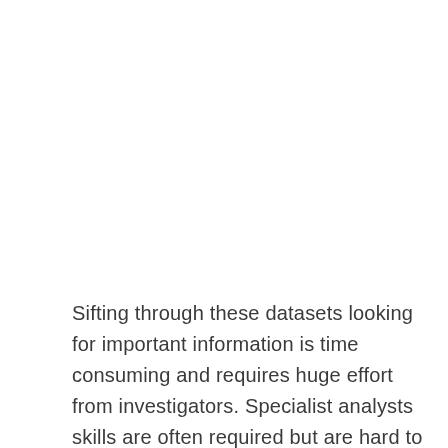Sifting through these datasets looking for important information is time consuming and requires huge effort from investigators. Specialist analysts skills are often required but are hard to access. Todays analytics tools are either focused on singular datasets, unable to deal with huge datasets, require